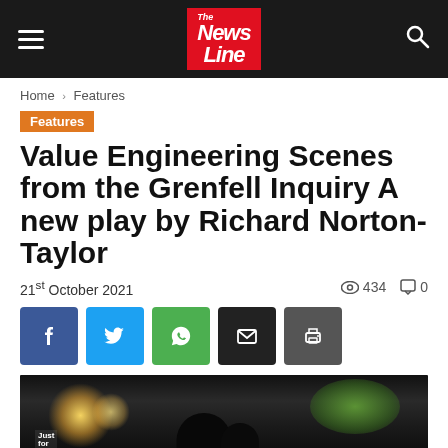News Line
Home › Features
Features
Value Engineering Scenes from the Grenfell Inquiry A new play by Richard Norton-Taylor
21st October 2021   434   0
[Figure (other): Social sharing buttons: Facebook, Twitter, WhatsApp, Email, Print]
[Figure (photo): Nighttime outdoor protest scene with bright street lights and greenery in background, silhouette of crowd, person holding a sign reading 'Just for']